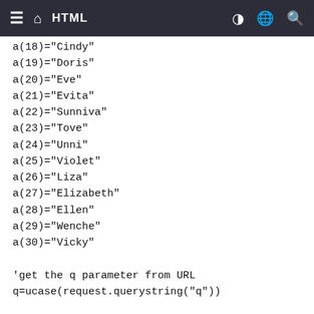HTML
a(18)="Cindy"
a(19)="Doris"
a(20)="Eve"
a(21)="Evita"
a(22)="Sunniva"
a(23)="Tove"
a(24)="Unni"
a(25)="Violet"
a(26)="Liza"
a(27)="Elizabeth"
a(28)="Ellen"
a(29)="Wenche"
a(30)="Vicky"

'get the q parameter from URL
q=ucase(request.querystring("q"))

'lookup all hints from array if length of